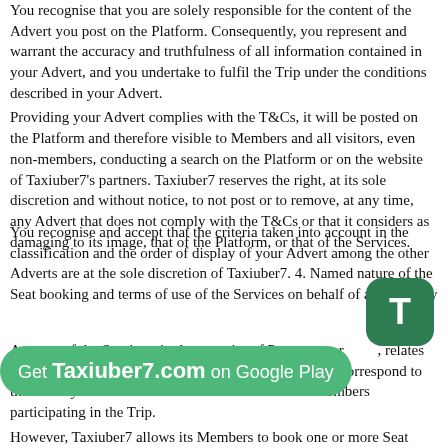You recognise that you are solely responsible for the content of the Advert you post on the Platform. Consequently, you represent and warrant the accuracy and truthfulness of all information contained in your Advert, and you undertake to fulfil the Trip under the conditions described in your Advert. Providing your Advert complies with the T&Cs, it will be posted on the Platform and therefore visible to Members and all visitors, even non-members, conducting a search on the Platform or on the website of Taxiuber7's partners. Taxiuber7 reserves the right, at its sole discretion and without notice, to not post or to remove, at any time, any Advert that does not comply with the T&Cs or that it considers as damaging to its image, that of the Platform, or that of the Services.
You recognise and accept that the criteria taken into account in the classification and the order of display of your Advert among the other Adverts are at the sole discretion of Taxiuber7. 4. Named nature of the Seat booking and terms of use of the Services on behalf of a third party
Any use of the Services, in the capacity of Passenger or Driver, relates to a specific name. The Driver and the Passenger must correspond to the identity communicated to Taxiuber7 and other Members participating in the Trip.
However, Taxiuber7 allows its Members to book one or more Seats